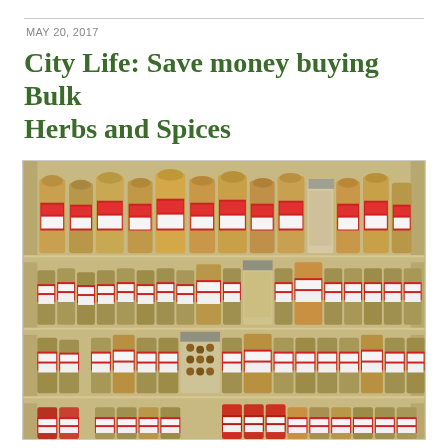MAY 20, 2017
City Life: Save money buying Bulk Herbs and Spices
[Figure (photo): A store shelving unit with four shelves packed with large bulk spice jars and containers, many with red and white labels (Trade brand), displaying a wide variety of herbs and spices.]